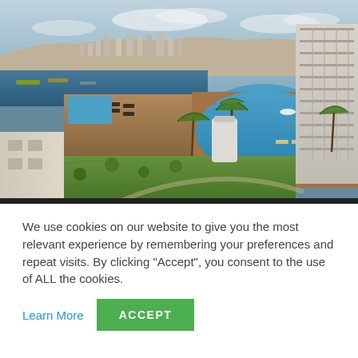[Figure (photo): Aerial view of a luxury resort hotel with swimming pools, palm trees, sun decks, and a view of a Mediterranean city and harbor in the background. Modern hotel building visible on the right side.]
We use cookies on our website to give you the most relevant experience by remembering your preferences and repeat visits. By clicking “Accept”, you consent to the use of ALL the cookies.
Learn More
ACCEPT